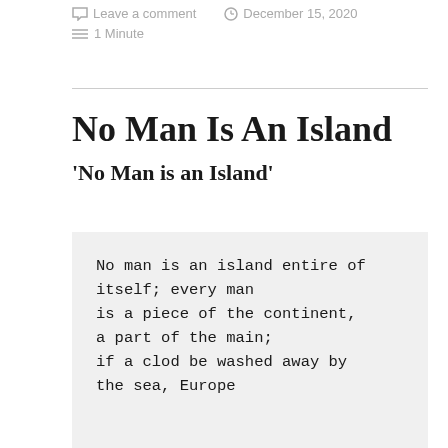Leave a comment   December 15, 2020
≡ 1 Minute
No Man Is An Island
'No Man is an Island'
No man is an island entire of
itself; every man
is a piece of the continent,
a part of the main;
if a clod be washed away by
the sea, Europe